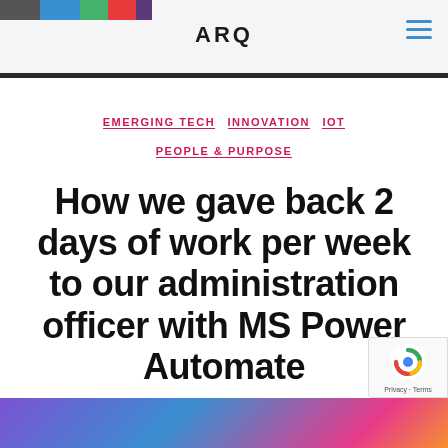ARQ
EMERGING TECH  INNOVATION  IOT  PEOPLE & PURPOSE
How we gave back 2 days of work per week to our administration officer with MS Power Automate
By Mark Addy  April 27, 2022